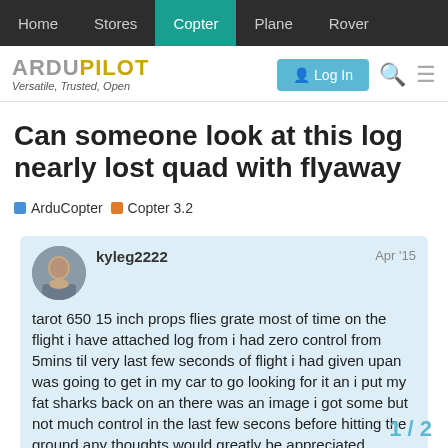Home | Stores | Copter | Plane | Rover
[Figure (logo): ArduPilot logo with tagline 'Versatile, Trusted, Open' and Log In button]
Can someone look at this log nearly lost quad with flyaway
ArduCopter   Copter 3.2
kyleg2222   Apr '15
tarot 650 15 inch props flies grate most of time on the flight i have attached log from i had zero control from 5mins til very last few seconds of flight i had given upan was going to get in my car to go looking for it an i put my fat sharks back on an there was an image i got some but not much control in the last few secons before hitting the ground any thoughts would greatly be appreciated
thanks in advance kyle
1 / 2